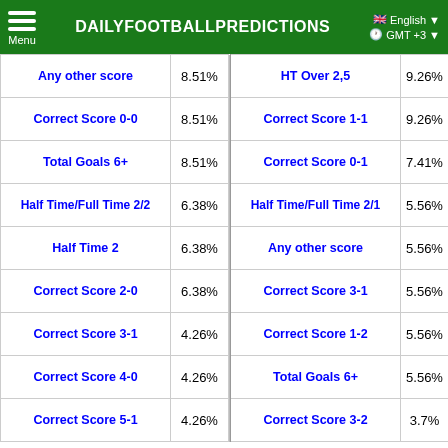DAILYFOOTBALLPREDICTIONS
| Prediction | % |  | Prediction | % |
| --- | --- | --- | --- | --- |
| Any other score | 8.51% |  | HT Over 2,5 | 9.26% |
| Correct Score 0-0 | 8.51% |  | Correct Score 1-1 | 9.26% |
| Total Goals 6+ | 8.51% |  | Correct Score 0-1 | 7.41% |
| Half Time/Full Time 2/2 | 6.38% |  | Half Time/Full Time 2/1 | 5.56% |
| Half Time 2 | 6.38% |  | Any other score | 5.56% |
| Correct Score 2-0 | 6.38% |  | Correct Score 3-1 | 5.56% |
| Correct Score 3-1 | 4.26% |  | Correct Score 1-2 | 5.56% |
| Correct Score 4-0 | 4.26% |  | Total Goals 6+ | 5.56% |
| Correct Score 5-1 | 4.26% |  | Correct Score 3-2 | 3.7% |